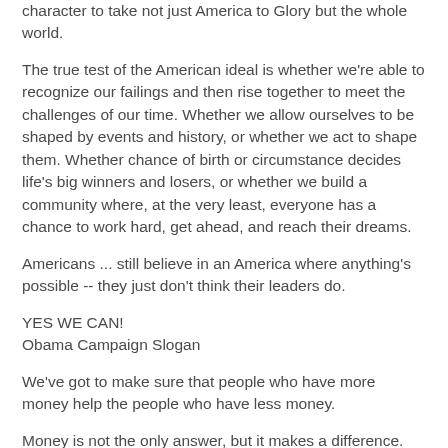character to take not just America to Glory but the whole world.
The true test of the American ideal is whether we're able to recognize our failings and then rise together to meet the challenges of our time. Whether we allow ourselves to be shaped by events and history, or whether we act to shape them. Whether chance of birth or circumstance decides life's big winners and losers, or whether we build a community where, at the very least, everyone has a chance to work hard, get ahead, and reach their dreams.
Americans ... still believe in an America where anything's possible -- they just don't think their leaders do.
YES WE CAN!
Obama Campaign Slogan
We've got to make sure that people who have more money help the people who have less money.
Money is not the only answer, but it makes a difference.